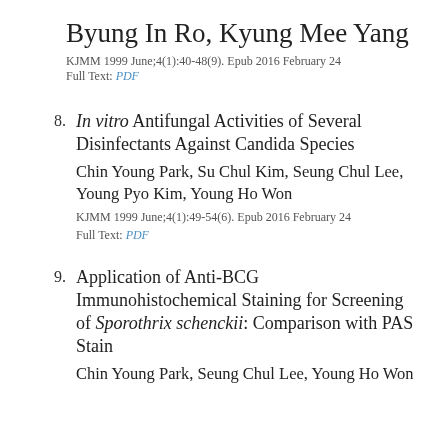Byung In Ro, Kyung Mee Yang
KJMM 1999 June;4(1):40-48(9). Epub 2016 February 24
Full Text: PDF
8. In vitro Antifungal Activities of Several Disinfectants Against Candida Species
Chin Young Park, Su Chul Kim, Seung Chul Lee, Young Pyo Kim, Young Ho Won
KJMM 1999 June;4(1):49-54(6). Epub 2016 February 24
Full Text: PDF
9. Application of Anti-BCG Immunohistochemical Staining for Screening of Sporothrix schenckii: Comparison with PAS Stain
Chin Young Park, Seung Chul Lee, Young Ho Won